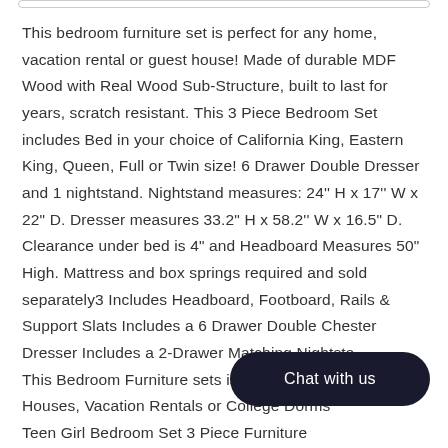This bedroom furniture set is perfect for any home, vacation rental or guest house! Made of durable MDF Wood with Real Wood Sub-Structure, built to last for years, scratch resistant. This 3 Piece Bedroom Set includes Bed in your choice of California King, Eastern King, Queen, Full or Twin size! 6 Drawer Double Dresser and 1 nightstand. Nightstand measures: 24'' H x 17'' W x 22" D. Dresser measures 33.2" H x 58.2'' W x 16.5" D. Clearance under bed is 4" and Headboard Measures 50" High. Mattress and box springs required and sold separately3 Includes Headboard, Footboard, Rails & Support Slats Includes a 6 Drawer Double Chester Dresser Includes a 2-Drawer Matching Nightstand This Bedroom Furniture sets is Perfect for Guest Houses, Vacation Rentals or College Dorms Teen Girl Bedroom Set 3 Piece Furniture